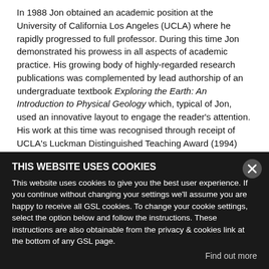In 1988 Jon obtained an academic position at the University of California Los Angeles (UCLA) where he rapidly progressed to full professor. During this time Jon demonstrated his prowess in all aspects of academic practice. His growing body of highly-regarded research publications was complemented by lead authorship of an undergraduate textbook Exploring the Earth: An Introduction to Physical Geology which, typical of Jon, used an innovative layout to engage the reader's attention. His work at this time was recognised through receipt of UCLA's Luckman Distinguished Teaching Award (1994) and the Wager Medal of the International Association of Volcanology and Chemistry of the Earth's Interior (1998).
In 2001 Jon returned to Durham as Chair of Earth Sciences. He served as Head of Department from 2002 to 2005 initiating a period of tremendous reform. Under Jon's leadership the Department revised its entire undergraduate and taught postgraduate curricula, moved into a newly constructed building and developed an entirely new approach to research organisation, the benefits of which can be seen in the health and vigour of the research and teaching cultures at Durham today.
Wide contribution
[partially obscured by cookie banner] ...chaining the Committee of Heads of University Geoscience Departments (2007-10), membership of a 2014 Research Excellence Framework...
THIS WEBSITE USES COOKIES
This website uses cookies to give you the best user experience. If you continue without changing your settings we'll assume you are happy to receive all GSL cookies. To change your cookie settings, select the option below and follow the instructions. These instructions are also obtainable from the privacy & cookies link at the bottom of any GSL page.